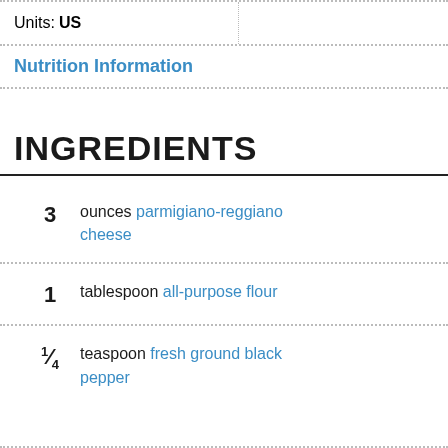Units: US
Nutrition Information
INGREDIENTS
3 ounces parmigiano-reggiano cheese
1 tablespoon all-purpose flour
1/4 teaspoon fresh ground black pepper